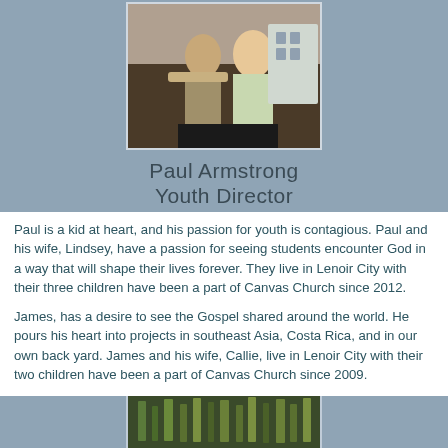[Figure (photo): Photo of Paul Armstrong and his wife Lindsey standing together outdoors, man in tan blazer, woman with blonde hair]
Paul Armstrong
Youth Director
Paul is a kid at heart, and his passion for youth is contagious.  Paul and his wife, Lindsey, have a passion for seeing students encounter God in a way that will shape their lives forever.  They live in Lenoir City with their three children have been a part of Canvas Church since 2012.
James, has a desire to see the Gospel shared around the world.  He pours his heart into projects in southeast Asia, Costa Rica, and in our own back yard.  James and his wife, Callie, live in Lenoir City with their two children have been a part of Canvas Church since 2009.
[Figure (photo): Partial photo visible at bottom of page, appears to show outdoor/nature scene]